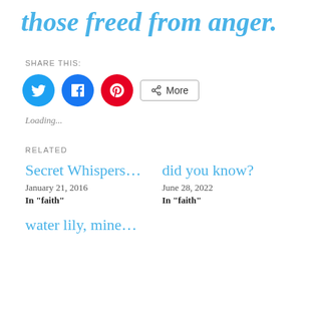those freed from anger.
SHARE THIS:
[Figure (infographic): Social share buttons: Twitter (blue circle), Facebook (blue circle), Pinterest (red circle), and a More button with share icon]
Loading...
RELATED
Secret Whispers...
January 21, 2016
In "faith"
did you know?
June 28, 2022
In "faith"
water lily, mine...